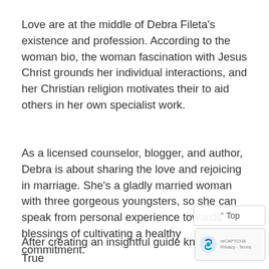Love are at the middle of Debra Fileta's existence and profession. According to the woman bio, the woman fascination with Jesus Christ grounds her individual interactions, and her Christian religion motivates their to aid others in her own specialist work.
As a licensed counselor, blogger, and author, Debra is about sharing the love and rejoicing in marriage. She's a gladly married woman with three gorgeous youngsters, so she can speak from personal experience towards blessings of cultivating a healthy commitment.
After creating an insightful guide known as True Love Dates,/ Debra began the TrueLoveDates